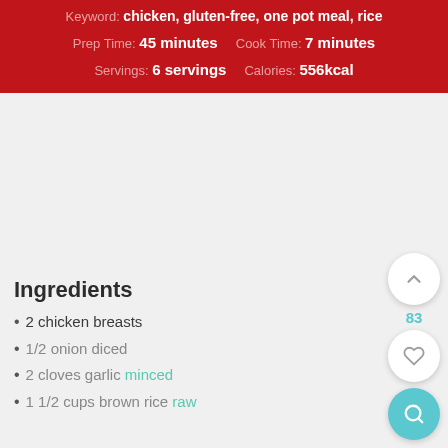Keyword: chicken, gluten-free, one pot meal, rice
Prep Time: 45 minutes   Cook Time: 7 minutes
Servings: 6 servings   Calories: 556kcal
Ingredients
2 chicken breasts
1/2 onion diced
2 cloves garlic minced
1 1/2 cups brown rice raw